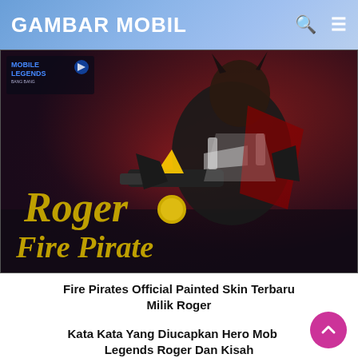GAMBAR MOBIL
[Figure (screenshot): Mobile Legends Roger Fire Pirate skin artwork showing the character in dark pirate armor with the text 'Roger' and 'Fire Pirate' in gold lettering, with the Mobile Legends logo in the top left corner.]
Fire Pirates Official Painted Skin Terbaru Milik Roger
Kata Kata Yang Diucapkan Hero Mobile Legends Roger Dan Kisah